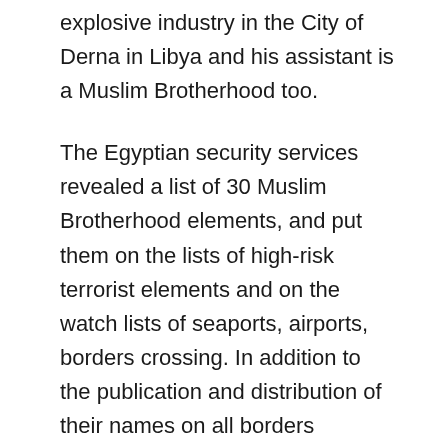explosive industry in the City of Derna in Libya and his assistant is a Muslim Brotherhood too.
The Egyptian security services revealed a list of 30 Muslim Brotherhood elements, and put them on the lists of high-risk terrorist elements and on the watch lists of seaports, airports, borders crossing. In addition to the publication and distribution of their names on all borders crossing of different security services. The security sources confirmed the tighten of security measures on the eastern borders of Sinai.